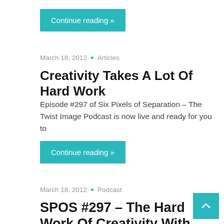Continue reading »
March 18, 2012 • Articles
Creativity Takes A Lot Of Hard Work
Episode #297 of Six Pixels of Separation – The Twist Image Podcast is now live and ready for you to
Continue reading »
March 18, 2012 • Podcast
SPOS #297 – The Hard Work Of Creativity With Julie Burstein
Welcome to episode #297 of Six Pixels Of